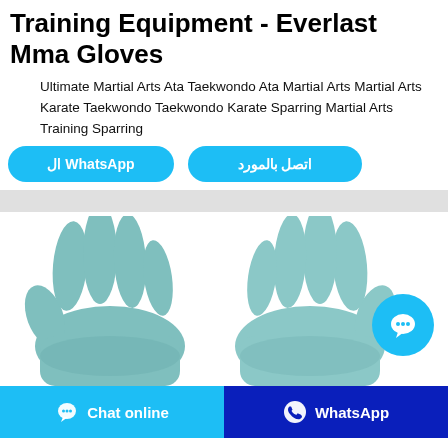Training Equipment - Everlast Mma Gloves
Ultimate Martial Arts Ata Taekwondo Ata Martial Arts Martial Arts Karate Taekwondo Taekwondo Karate Sparring Martial Arts Training Sparring
[Figure (screenshot): Two blue-green MMA gloves displayed side by side on white background]
Chat online
WhatsApp